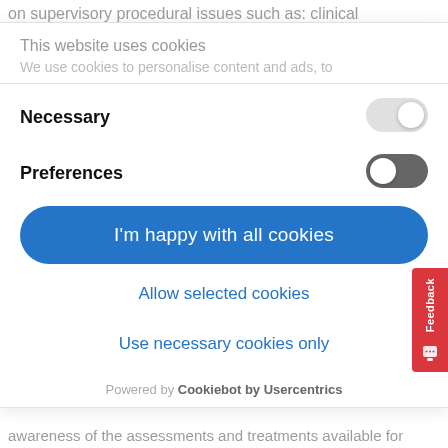on supervisory procedural issues such as: clinical
This website uses cookies
We use cookies to personalise content and ads, to
Necessary
Preferences
I'm happy with all cookies
Allow selected cookies
Use necessary cookies only
Powered by Cookiebot by Usercentrics
awareness of the assessments and treatments available for